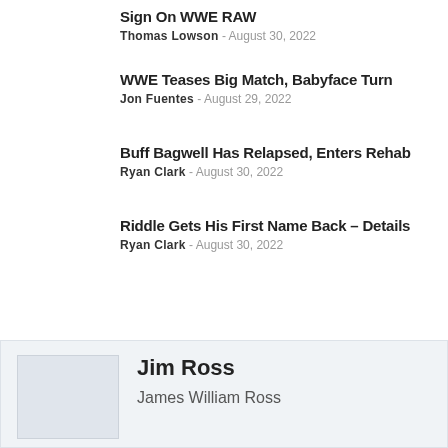Sign On WWE RAW
Thomas Lowson - August 30, 2022
WWE Teases Big Match, Babyface Turn
Jon Fuentes - August 29, 2022
Buff Bagwell Has Relapsed, Enters Rehab
Ryan Clark - August 30, 2022
Riddle Gets His First Name Back – Details
Ryan Clark - August 30, 2022
Jim Ross
James William Ross